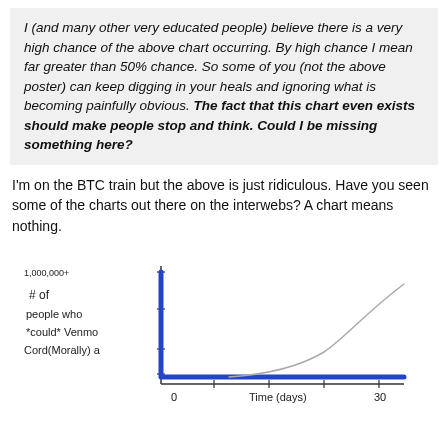I (and many other very educated people) believe there is a very high chance of the above chart occurring. By high chance I mean far greater than 50% chance. So some of you (not the above poster) can keep digging in your heals and ignoring what is becoming painfully obvious. The fact that this chart even exists should make people stop and think. Could I be missing something here?
I'm on the BTC train but the above is just ridiculous. Have you seen some of the charts out there on the interwebs? A chart means nothing.
[Figure (continuous-plot): Hand-drawn style chart showing a sharp vertical drop from a high value (1,000,000+) down to near zero, then a flat horizontal line near zero along the x-axis from 0 to 30 days. A thin gray curved line rises exponentially in the upper right. Y-axis label reads '# of people who *could* Venmo Cord(Morally) a'. X-axis shows 'Time (days)' with markings at 0 and 30.]